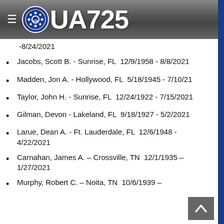UA725
-8/24/2021
Jacobs, Scott B. - Sunrise, FL  12/9/1958 - 8/8/2021
Madden, Jon A. - Hollywood, FL  5/18/1945 - 7/10/21
Taylor, John H. - Sunrise, FL  12/24/1922 - 7/15/2021
Gilman, Devon - Lakeland, FL  9/18/1927 - 5/2/2021
Larue, Dean A. - Ft. Lauderdale, FL  12/6/1948 - 4/22/2021
Carnahan, James A. – Crossville, TN  12/1/1935 – 1/27/2021
Murphy, Robert C. – Noita, TN  10/6/1939 –